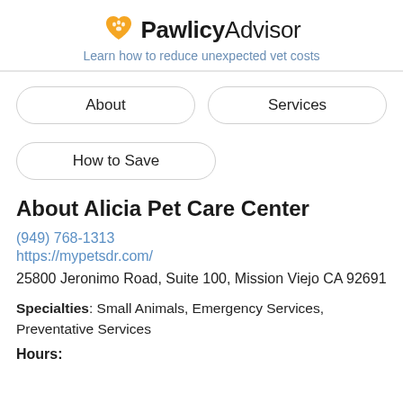PawlicyAdvisor — Learn how to reduce unexpected vet costs
About
Services
How to Save
About Alicia Pet Care Center
(949) 768-1313
https://mypetsdr.com/
25800 Jeronimo Road, Suite 100, Mission Viejo CA 92691
Specialties: Small Animals, Emergency Services, Preventative Services
Hours: